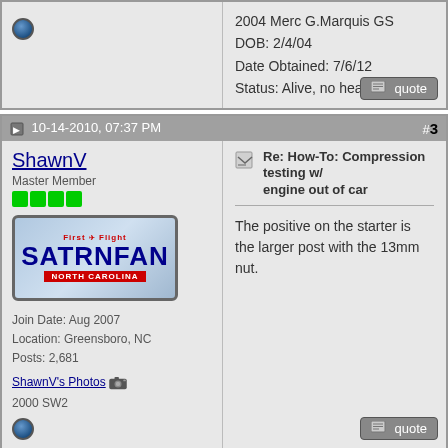2004 Merc G.Marquis GS
DOB: 2/4/04
Date Obtained: 7/6/12
Status: Alive, no heat
10-14-2010, 07:37 PM   #3
ShawnV
Master Member
[Figure (photo): North Carolina license plate reading SATRNFAN with First in Flight text]
Join Date: Aug 2007
Location: Greensboro, NC
Posts: 2,681
ShawnV's Photos
2000 SW2
Re: How-To: Compression testing w/ engine out of car

The positive on the starter is the larger post with the 13mm nut.
10-14-2010, 07:55 PM   #4
SC2Sick
Advanced Member
Re: How-To: Compression testing w/ engine out of car